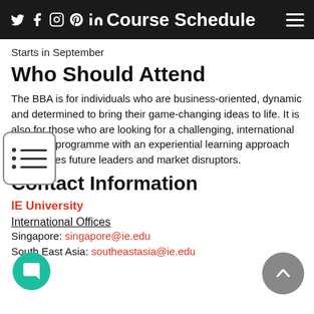Course Schedule
Starts in September
Who Should Attend
The BBA is for individuals who are business-oriented, dynamic and determined to bring their game-changing ideas to life. It is also for those who are looking for a challenging, international business programme with an experiential learning approach that creates future leaders and market disruptors.
Contact Information
IE University
International Offices
Singapore: singapore@ie.edu
South East Asia: southeastasia@ie.edu